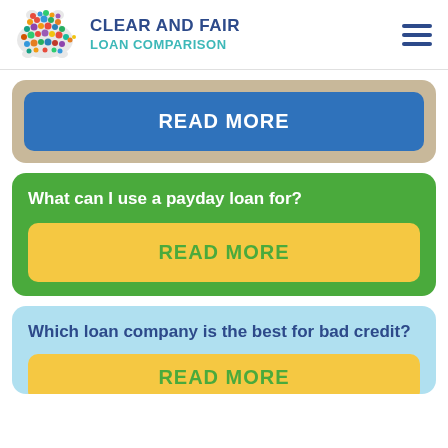CLEAR AND FAIR LOAN COMPARISON
[Figure (logo): Colorful bear logo made of dots/circles in multicolors]
READ MORE
What can I use a payday loan for?
READ MORE
Which loan company is the best for bad credit?
READ MORE